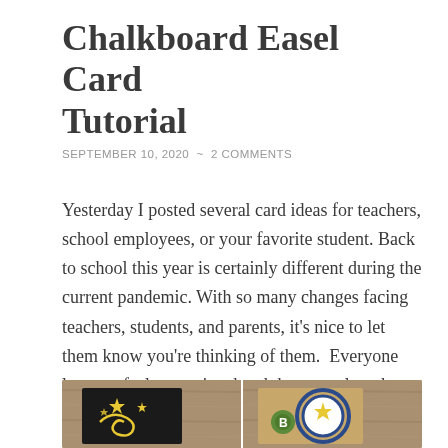Chalkboard Easel Card Tutorial
SEPTEMBER 10, 2020  ~  2 COMMENTS
Yesterday I posted several card ideas for teachers, school employees, or your favorite student. Back to school this year is certainly different during the current pandemic. With so many changes facing teachers, students, and parents, it's nice to let them know you're thinking of them.  Everyone loves to feel appreciated and these easel cards are quick & easy to make to brighten someone's day!
[Figure (photo): Two chalkboard easel cards on a wooden background: left card has yellow star and swirl die-cut decorations on a black chalkboard card; right card has a back-to-school themed design with a star badge and circle embellishments.]